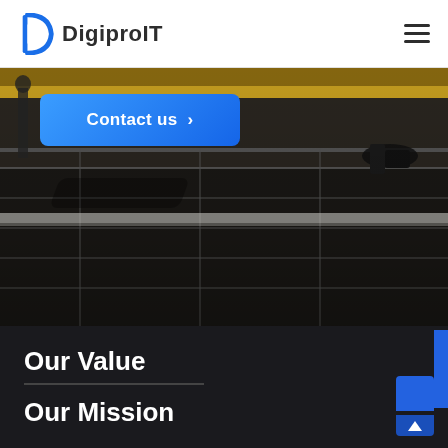[Figure (logo): DigiproIT company logo with stylized D icon in blue and company name in dark gray bold text]
[Figure (photo): Dark toned street-level photo showing a person's feet walking on paved tiles with a yellow bus or vehicle partially visible at top. Dark overlay on lower portion.]
Contact us ›
Our Value
Our Mission